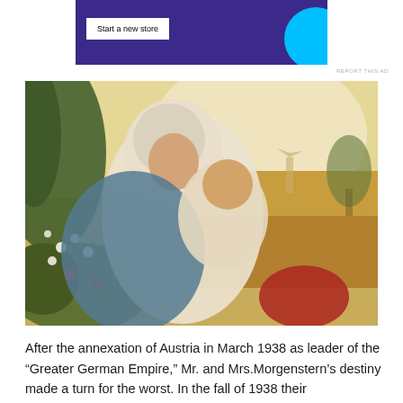[Figure (screenshot): Advertisement banner with dark purple background, a white 'Start a new store' button on the left, and a cyan/teal circle graphic on the right]
REPORT THIS AD
[Figure (illustration): Painting of a woman in white head covering and blue shawl holding a young child in a pastoral meadow with flowers, daisy fields, and a warm golden landscape with windmill in background]
After the annexation of Austria in March 1938 as leader of the "Greater German Empire," Mr. and Mrs.Morgenstern's destiny made a turn for the worst. In the fall of 1938 their